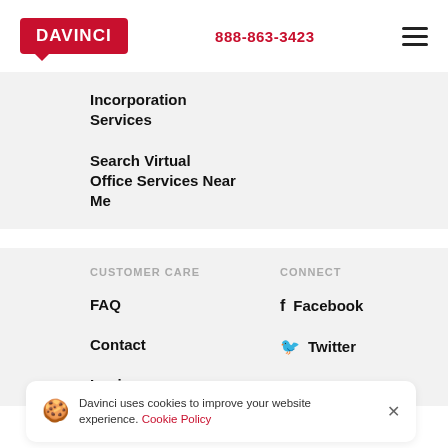DAVINCI | 888-863-3423
Incorporation Services
Search Virtual Office Services Near Me
CUSTOMER CARE
CONNECT
FAQ
Facebook
Contact
Twitter
Login
LinkedIn
Davinci uses cookies to improve your website experience. Cookie Policy